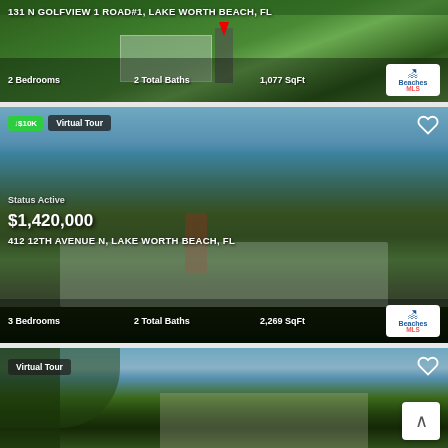[Figure (photo): Aerial view of 131 N Golfview 1 Road #1, Lake Worth Beach FL - showing building rooftop with red pin marker and surrounding greenery]
131 N GOLFVIEW 1 ROAD#1, LAKE WORTH BEACH, FL
2 Bedrooms   2 Total Baths   1,077 SqFt
[Figure (photo): Front exterior photo of 412 12th Avenue N, Lake Worth Beach FL - single-story home with palm trees, green lawn, and brick chimney accent]
↓$10K  Virtual Tour
Status Active
$1,420,000
412 12TH AVENUE N, LAKE WORTH BEACH, FL
3 Bedrooms   2 Total Baths   2,269 SqFt
[Figure (photo): Exterior view of third property in Lake Worth Beach FL - house partially visible through palm trees with blue sky]
Virtual Tour